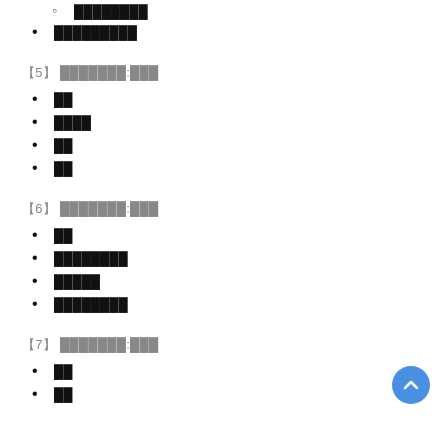████████
█████████
【5】 ███████:███
██
████
██
██
【6】 ███████:███
██
████████
█████
████████
【7】 ███████:███
██
██